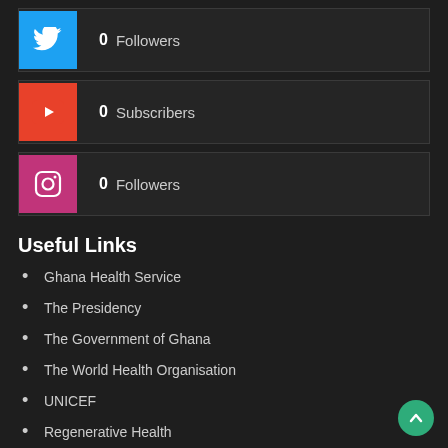[Figure (logo): Twitter bird icon, blue background, showing 0 Followers]
[Figure (logo): YouTube play button icon, red background, showing 0 Subscribers]
[Figure (logo): Instagram camera icon, pink/magenta background, showing 0 Followers]
Useful Links
Ghana Health Service
The Presidency
The Government of Ghana
The World Health Organisation
UNICEF
Regenerative Health
Community-Based Health Planning and Services